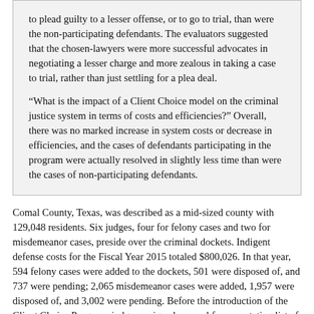to plead guilty to a lesser offense, or to go to trial, than were the non-participating defendants.  The evaluators suggested that the chosen-lawyers were more successful advocates in negotiating a lesser charge and more zealous in taking a case to trial, rather than just settling for a plea deal.
“What is the impact of a Client Choice model on the criminal justice system in terms of costs and efficiencies?”  Overall, there was no marked increase in system costs or decrease in efficiencies, and the cases of defendants participating in the program were actually resolved in slightly less time than were the cases of non-participating defendants.
Comal County, Texas, was described as a mid-sized county with 129,048 residents.  Six judges, four for felony cases and two for misdemeanor cases, preside over the criminal dockets.  Indigent defense costs for the Fiscal Year 2015 totaled $800,026.  In that year, 594 felony cases were added to the dockets, 501 were disposed of, and 737 were pending; 2,065 misdemeanor cases were added, 1,957 were disposed of, and 3,002 were pending.  Before the introduction of the Client Choice Program, judges assigned counsel from a rotating list of private lawyers; the lawyers were paid on a per-case basis pursuant to